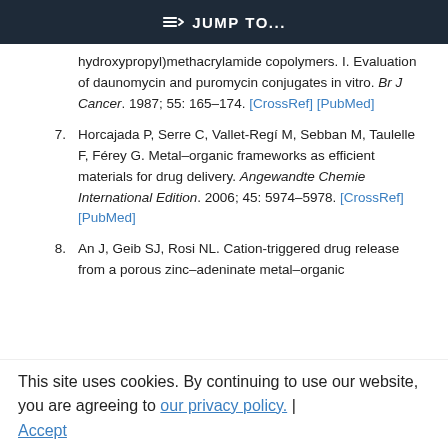JUMP TO...
hydroxypropyl)methacrylamide copolymers. I. Evaluation of daunomycin and puromycin conjugates in vitro. Br J Cancer. 1987; 55: 165–174. [CrossRef] [PubMed]
7. Horcajada P, Serre C, Vallet-Regí M, Sebban M, Taulelle F, Férey G. Metal–organic frameworks as efficient materials for drug delivery. Angewandte Chemie International Edition. 2006; 45: 5974–5978. [CrossRef] [PubMed]
8. An J, Geib SJ, Rosi NL. Cation-triggered drug release from a porous zinc–adeninate metal–organic framework. J Am Chem Soc. 2009; 131: 8376–8377.
This site uses cookies. By continuing to use our website, you are agreeing to our privacy policy. Accept